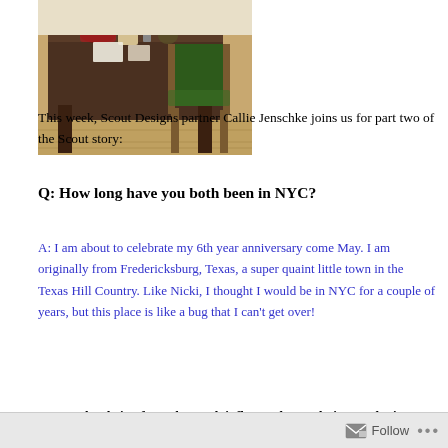[Figure (photo): Photo of a wooden desk with items on top and a green upholstered chair, on a wood floor background]
This week, Scout Designs partner Callie Jenschke joins us for part two of the Scout story:
Q: How long have you both been in NYC?
A: I am about to celebrate my 6th year anniversary come May. I am originally from Fredericksburg, Texas, a super quaint little town in the Texas Hill Country. Like Nicki, I thought I would be in NYC for a couple of years, but this place is like a bug that I can't get over!
Q: How has being from the south influenced your design aesthetic